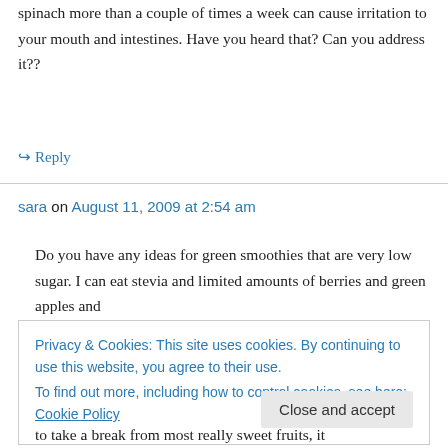spinach more than a couple of times a week can cause irritation to your mouth and intestines. Have you heard that? Can you address it??
↪ Reply
sara on August 11, 2009 at 2:54 am
Do you have any ideas for green smoothies that are very low sugar. I can eat stevia and limited amounts of berries and green apples and
Privacy & Cookies: This site uses cookies. By continuing to use this website, you agree to their use.
To find out more, including how to control cookies, see here: Cookie Policy
Close and accept
to take a break from most really sweet fruits, it